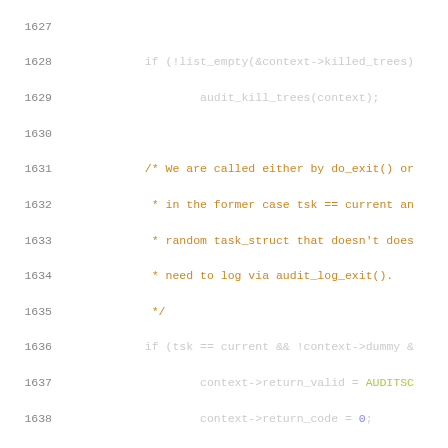[Figure (screenshot): Source code listing (C language) showing lines 1627-1647 of a Linux kernel audit subsystem file. Syntax highlighted with line numbers in gray on the left, comments in orange/brown, code in light gray/white, and numeric literals in blue-green.]